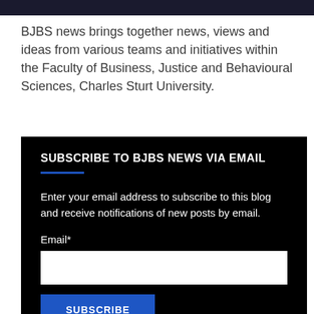BJBS news brings together news, views and ideas from various teams and initiatives within the Faculty of Business, Justice and Behavioural Sciences, Charles Sturt University.
SUBSCRIBE TO BJBS NEWS VIA EMAIL
Enter your email address to subscribe to this blog and receive notifications of new posts by email.
Email*